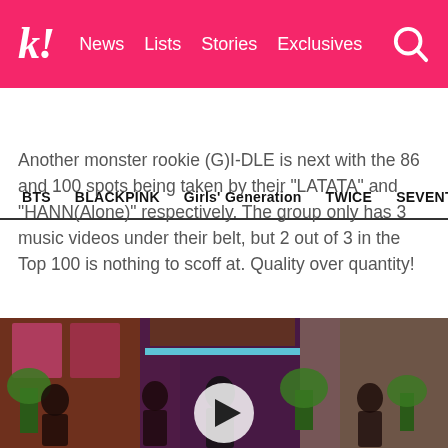k! News  Lists  Stories  Exclusives
BTS  BLACKPINK  Girls' Generation  TWICE  SEVENTEEN
Another monster rookie (G)I-DLE is next with the 86 and 100 spots being taken by their “LATATA” and “HANN(Alone)” respectively. The group only has 3 music videos under their belt, but 2 out of 3 in the Top 100 is nothing to scoff at. Quality over quantity!
[Figure (photo): Music video scene showing (G)I-DLE members performing in a decorated indoor set with colorful lighting and plants, with a circular play button overlay in the center]